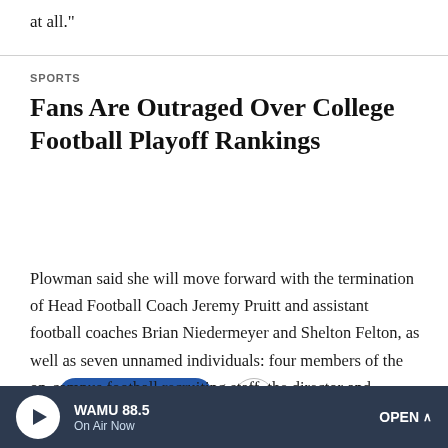at all."
SPORTS
Fans Are Outraged Over College Football Playoff Rankings
[Figure (other): Audio player button: play icon with LISTEN · 3:47 label on blue pill-shaped button, and a more options (...) circle button]
Plowman said she will move forward with the termination of Head Football Coach Jeremy Pruitt and assistant football coaches Brian Niedermeyer and Shelton Felton, as well as seven unnamed individuals: four members of the on-campus football recruiting staff, the director and assistant director of football player personnel and a "football analyst/quality
WAMU 88.5 · On Air Now · OPEN